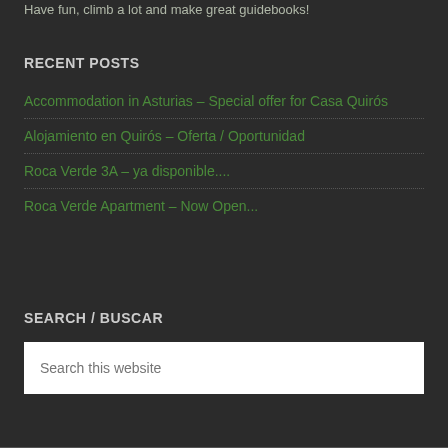Have fun, climb a lot and make great guidebooks!
RECENT POSTS
Accommodation in Asturias – Special offer for Casa Quirós
Alojamiento en Quirós – Oferta / Oportunidad
Roca Verde 3A – ya disponible....
Roca Verde Apartment – Now Open...
SEARCH / BUSCAR
Search this website